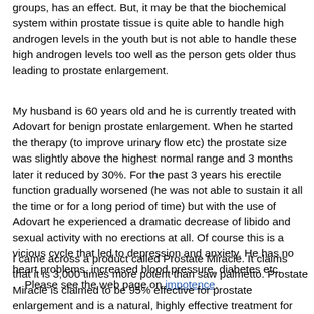groups, has an effect. But, it may be that the biochemical system within prostate tissue is quite able to handle high androgen levels in the youth but is not able to handle these high androgen levels too well as the person gets older thus leading to prostate enlargement.
My husband is 60 years old and he is currently treated with Adovart for benign prostate enlargement. When he started the therapy (to improve urinary flow etc) the prostate size was slightly above the highest normal range and 3 months later it reduced by 30%. For the past 3 years his erectile function gradually worsened (he was not able to sustain it all the time or for a long period of time) but with the use of Adovart he experienced a dramatic decrease of libido and sexual activity with no erections at all. Of course this is a vicious cycle that led to depression and anxiety. He has no heart problems, increased blood pressure, diabetes etc.
    Please see the web page on impotence.
I came across a product called Prostate Miracle. It claims that it is 3,000 times more potent than saw palmetto. Prostate Miracle is claimed to be 95% effective for prostate enlargement and is a natural, highly effective treatment for BPH. What is your opinion? They also say Prostate Miracle is an excellent pre-emptive measure to prevent prostate cancer from developing.